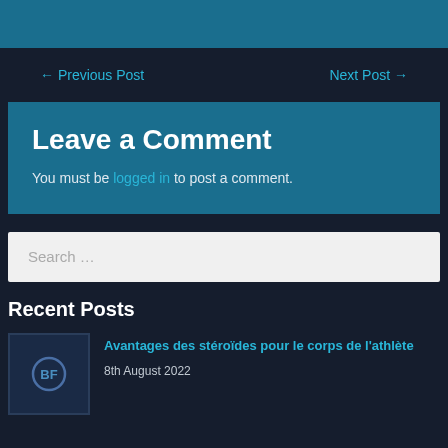[Figure (other): Top teal/blue decorative bar]
← Previous Post
Next Post →
Leave a Comment
You must be logged in to post a comment.
Search …
Recent Posts
[Figure (logo): Small dark square thumbnail with circular logo icon]
Avantages des stéroïdes pour le corps de l'athlète
8th August 2022